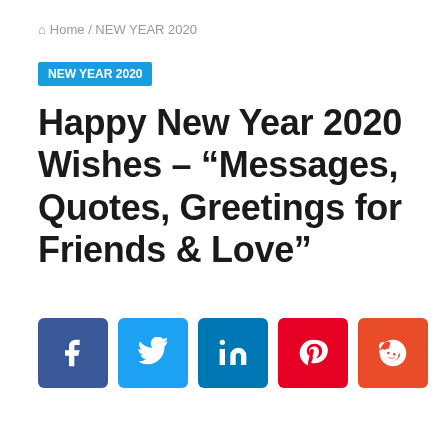Home / NEW YEAR 2020
NEW YEAR 2020
Happy New Year 2020 Wishes – “Messages, Quotes, Greetings for Friends & Love”
[Figure (infographic): Five social share buttons: Facebook (blue), Twitter (light blue), LinkedIn (dark blue), Pinterest (red), Reddit (orange-red)]